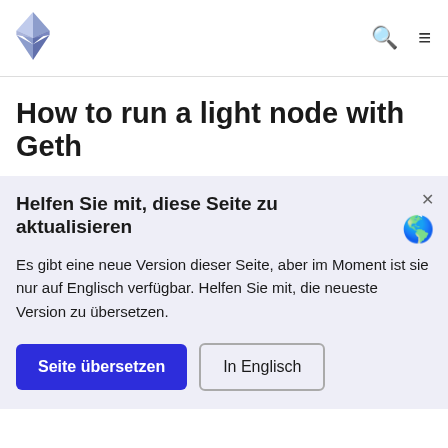[Figure (logo): Ethereum diamond logo (rainbow-colored faceted gem shape) in the top left navigation bar]
Search icon and hamburger menu icon in header navigation bar
How to run a light node with Geth
Helfen Sie mit, diese Seite zu aktualisieren
Es gibt eine neue Version dieser Seite, aber im Moment ist sie nur auf Englisch verfügbar. Helfen Sie mit, die neueste Version zu übersetzen.
Seite übersetzen | In Englisch